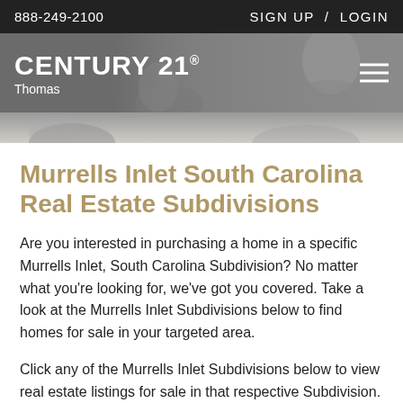888-249-2100    SIGN UP / LOGIN
[Figure (logo): Century 21 Thomas logo with hamburger menu on dark gray background with a grayscale photo of a person in background]
Murrells Inlet South Carolina Real Estate Subdivisions
Are you interested in purchasing a home in a specific Murrells Inlet, South Carolina Subdivision? No matter what you're looking for, we've got you covered. Take a look at the Murrells Inlet Subdivisions below to find homes for sale in your targeted area.
Click any of the Murrells Inlet Subdivisions below to view real estate listings for sale in that respective Subdivision.